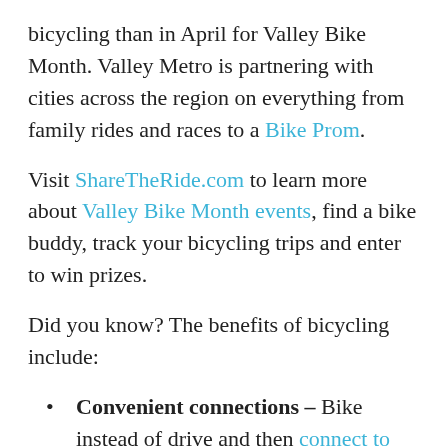bicycling than in April for Valley Bike Month. Valley Metro is partnering with cities across the region on everything from family rides and races to a Bike Prom.
Visit ShareTheRide.com to learn more about Valley Bike Month events, find a bike buddy, track your bicycling trips and enter to win prizes.
Did you know? The benefits of bicycling include:
Convenient connections – Bike instead of drive and then connect to bus or light rail to complete your trip.
Improved health – Burn more calories and reduce stress and the risk of heart disease.